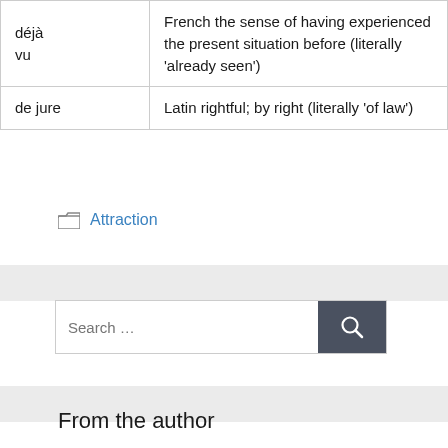|  |  |
| --- | --- |
| déjà vu | French the sense of having experienced the present situation before (literally 'already seen') |
| de jure | Latin rightful; by right (literally 'of law') |
Attraction
[Figure (other): Search bar with search button]
From the author